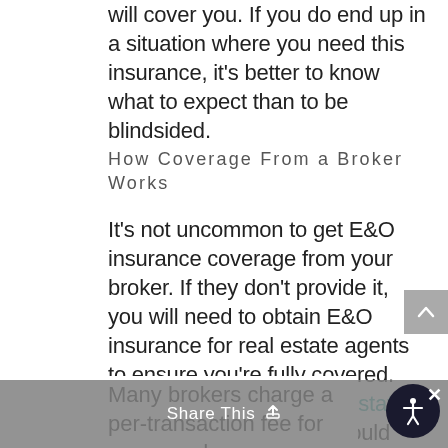will cover you. If you do end up in a situation where you need this insurance, it's better to know what to expect than to be blindsided.
How Coverage From a Broker Works
It's not uncommon to get E&O insurance coverage from your broker. If they don't provide it, you will need to obtain E&O insurance for real estate agents to ensure you're fully covered. When you choose a real estate broker to work for, you should understand how E&O insurance will cover you and how you will pay for it.
Many brokers charge a per-transaction fee for errors and